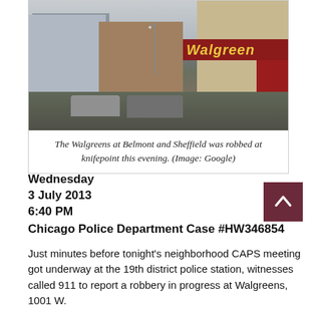[Figure (photo): Street view photo of a Walgreens at the corner of Belmont and Sheffield in Chicago. The Walgreens sign is visible on the right side of the building. There are cars on the street, an elevated train structure on the left, and other buildings visible in the background.]
The Walgreens at Belmont and Sheffield was robbed at knifepoint this evening. (Image: Google)
Wednesday
3 July 2013
6:40 PM
Chicago Police Department Case #HW346854
Just minutes before tonight's neighborhood CAPS meeting got underway at the 19th district police station, witnesses called 911 to report a robbery in progress at Walgreens, 1001 W.